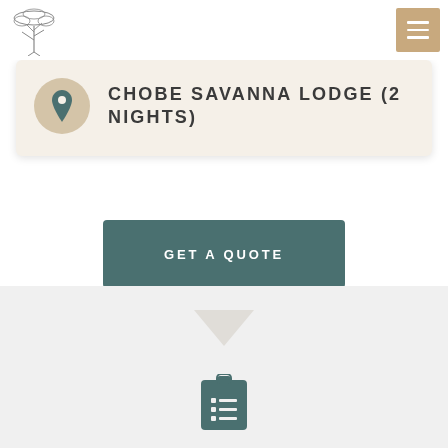[Figure (logo): Acacia tree line art logo in gray]
[Figure (other): Hamburger menu button in tan/beige color]
CHOBE SAVANNA LODGE (2 NIGHTS)
GET A QUOTE
[Figure (other): Downward pointing chevron/arrow divider in light gray]
[Figure (other): Clipboard with checklist icon in dark teal color]